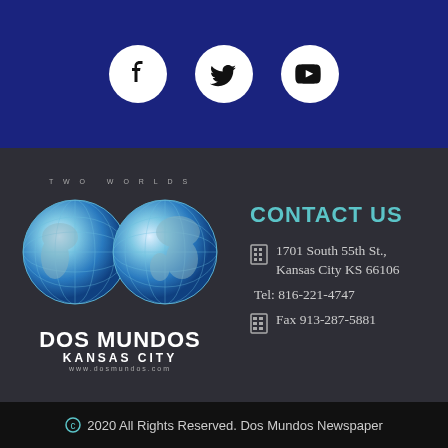[Figure (logo): Social media icons: Facebook, Twitter, YouTube in white circles on dark blue background]
[Figure (logo): Dos Mundos Kansas City newspaper logo with two globe illustrations and text TWO WORLDS, DOS MUNDOS, KANSAS CITY, www.dosmundos.com]
CONTACT US
1701 South 55th St., Kansas City KS 66106
Tel: 816-221-4747
Fax 913-287-5881
© 2020 All Rights Reserved. Dos Mundos Newspaper